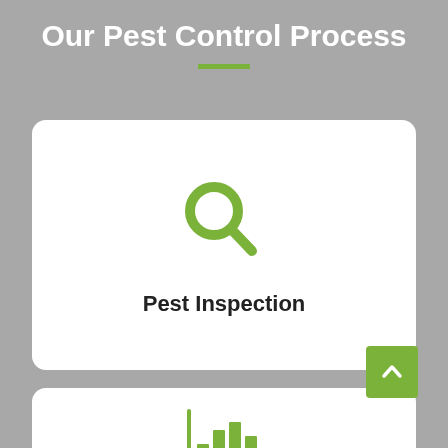Our Pest Control Process
[Figure (illustration): White rounded card with a green magnifying glass icon and bold text 'Pest Inspection' below it]
Pest Inspection
[Figure (illustration): White rounded card partially visible at bottom with a green bar chart icon, and a green scroll-to-top button in the bottom right corner]